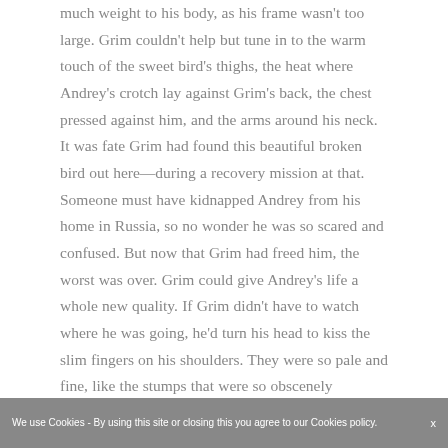much weight to his body, as his frame wasn't too large. Grim couldn't help but tune in to the warm touch of the sweet bird's thighs, the heat where Andrey's crotch lay against Grim's back, the chest pressed against him, and the arms around his neck. It was fate Grim had found this beautiful broken bird out here—during a recovery mission at that. Someone must have kidnapped Andrey from his home in Russia, so no wonder he was so scared and confused. But now that Grim had freed him, the worst was over. Grim could give Andrey's life a whole new quality. If Grim didn't have to watch where he was going, he'd turn his head to kiss the slim fingers on his shoulders. They were so pale and fine, like the stumps that were so obscenely
We use Cookies - By using this site or closing this you agree to our Cookies policy.